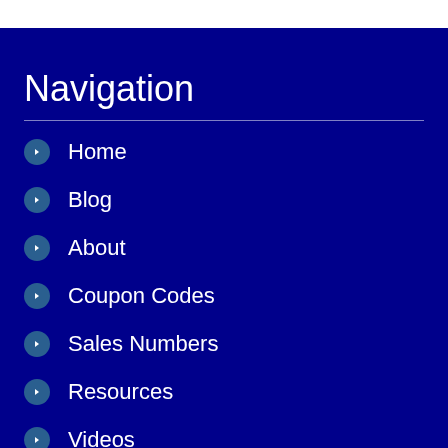Navigation
Home
Blog
About
Coupon Codes
Sales Numbers
Resources
Videos